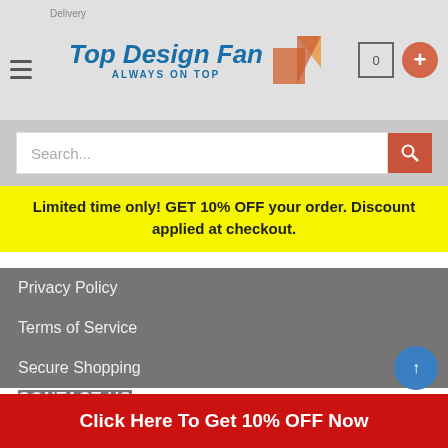Top Design Fan — ALWAYS ON TOP
Search...
Limited time only! GET 10% OFF your order. Discount applied at checkout.
Privacy Policy
Terms of Service
Secure Shopping
CONTACT US
Address: 11923 NE Sumner ST Portland, Oregon, 97220 - United States
Click Here To Get 10% OFF Now